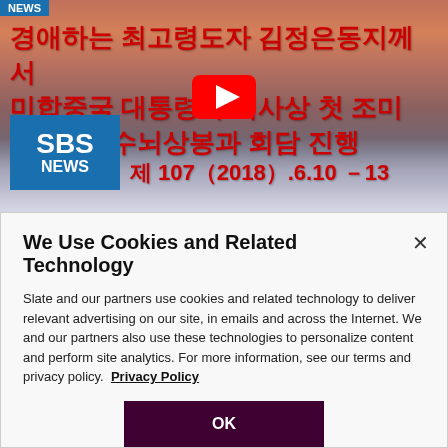[Figure (screenshot): SBS News YouTube video thumbnail showing Korean text about Kim Jong-un meeting with US President, with SBS NEWS logo and date 제107(2018).6.10-13, with YouTube play button overlay]
We Use Cookies and Related Technology
Slate and our partners use cookies and related technology to deliver relevant advertising on our site, in emails and across the Internet. We and our partners also use these technologies to personalize content and perform site analytics. For more information, see our terms and privacy policy.  Privacy Policy
OK